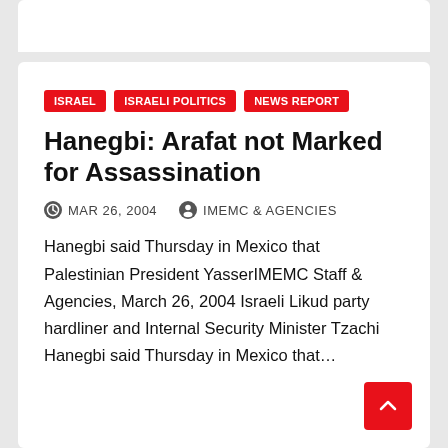ISRAEL
ISRAELI POLITICS
NEWS REPORT
Hanegbi: Arafat not Marked for Assassination
MAR 26, 2004   IMEMC & AGENCIES
Hanegbi said Thursday in Mexico that Palestinian President YasserIMEMC Staff & Agencies, March 26, 2004 Israeli Likud party hardliner and Internal Security Minister Tzachi Hanegbi said Thursday in Mexico that…